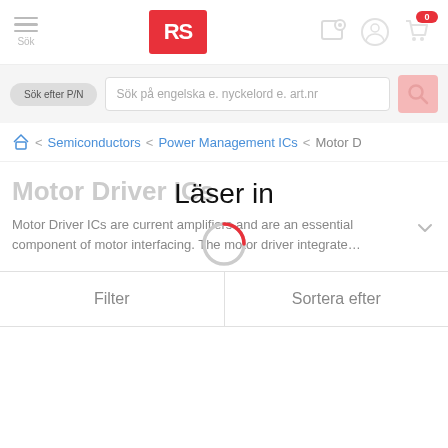[Figure (screenshot): RS Components website header with hamburger menu, RS logo, location pin icon, user account icon, and shopping cart icon with 0 badge]
[Figure (screenshot): Search bar with 'Sök efter P/N' pill button and search input placeholder 'Sök på engelska e. nyckelord e. art.nr' with pink search icon button]
Semiconductors > Power Management ICs > Motor D
Motor Driver ICs
Motor Driver ICs are current amplifiers and are an essential component of motor interfacing. The motor driver integrate…
Filter | Sortera efter
[Figure (other): Loading spinner overlay showing 'Läser in' text with a circular spinner animation]